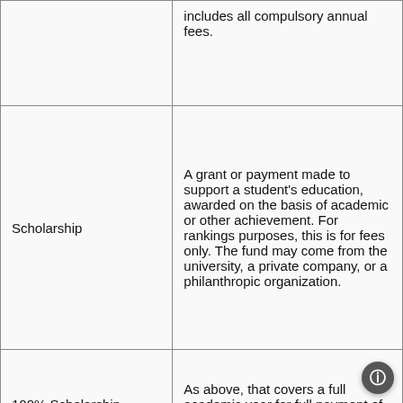| Term | Definition |
| --- | --- |
|  | includes all compulsory annual fees. |
| Scholarship | A grant or payment made to support a student's education, awarded on the basis of academic or other achievement. For rankings purposes, this is for fees only. The fund may come from the university, a private company, or a philanthropic organization. |
| 100% Scholarship | As above, that covers a full academic year for full payment of fees |